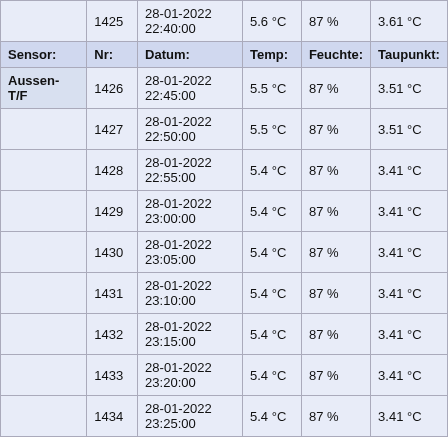| Sensor: | Nr: | Datum: | Temp: | Feuchte: | Taupunkt: |
| --- | --- | --- | --- | --- | --- |
|  | 1425 | 28-01-2022 22:40:00 | 5.6 °C | 87 % | 3.61 °C |
| Sensor: | Nr: | Datum: | Temp: | Feuchte: | Taupunkt: |
| Aussen-T/F | 1426 | 28-01-2022 22:45:00 | 5.5 °C | 87 % | 3.51 °C |
|  | 1427 | 28-01-2022 22:50:00 | 5.5 °C | 87 % | 3.51 °C |
|  | 1428 | 28-01-2022 22:55:00 | 5.4 °C | 87 % | 3.41 °C |
|  | 1429 | 28-01-2022 23:00:00 | 5.4 °C | 87 % | 3.41 °C |
|  | 1430 | 28-01-2022 23:05:00 | 5.4 °C | 87 % | 3.41 °C |
|  | 1431 | 28-01-2022 23:10:00 | 5.4 °C | 87 % | 3.41 °C |
|  | 1432 | 28-01-2022 23:15:00 | 5.4 °C | 87 % | 3.41 °C |
|  | 1433 | 28-01-2022 23:20:00 | 5.4 °C | 87 % | 3.41 °C |
|  | 1434 | 28-01-2022 23:25:00 | 5.4 °C | 87 % | 3.41 °C |